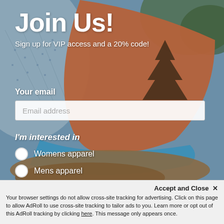[Figure (photo): Background photo of a person wearing an orange and grey mesh snapback hat with a pine tree logo, viewed from behind, with blurred green foliage in background.]
Join Us!
Sign up for VIP access and a 20% code!
Your email
Email address
I'm interested in
Womens apparel
Mens apparel
Both
Accept and Close ✕
Your browser settings do not allow cross-site tracking for advertising. Click on this page to allow AdRoll to use cross-site tracking to tailor ads to you. Learn more or opt out of this AdRoll tracking by clicking here. This message only appears once.